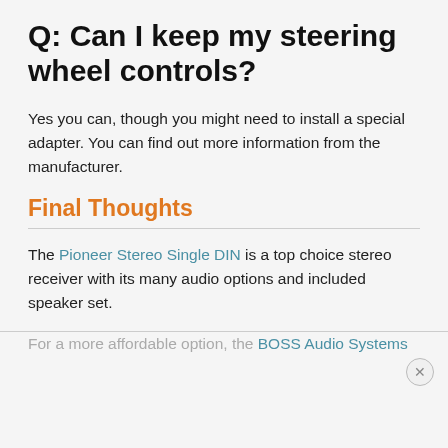Q: Can I keep my steering wheel controls?
Yes you can, though you might need to install a special adapter. You can find out more information from the manufacturer.
Final Thoughts
The Pioneer Stereo Single DIN is a top choice stereo receiver with its many audio options and included speaker set.
For a more affordable option, the BOSS Audio Systems